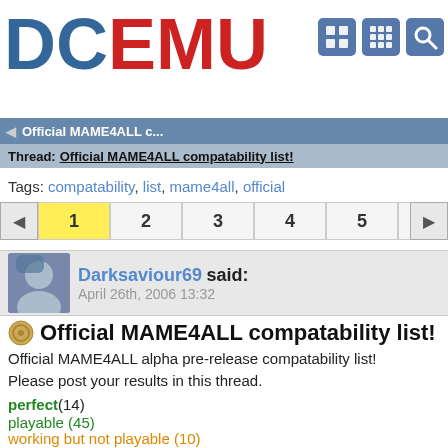DCEMU
Official MAME4ALL c...
Thread: Official MAME4ALL compatability list!
Tags: compatability, list, mame4all, official
Pages: 1 2 3 4 5 6 7
Darksaviour69 said:
April 26th, 2006 13:32
Official MAME4ALL compatability list!
Official MAME4ALL alpha pre-release compatability list!
Please post your results in this thread.
perfect (14)
playable (45)
working but not playable (10)
not working (16)